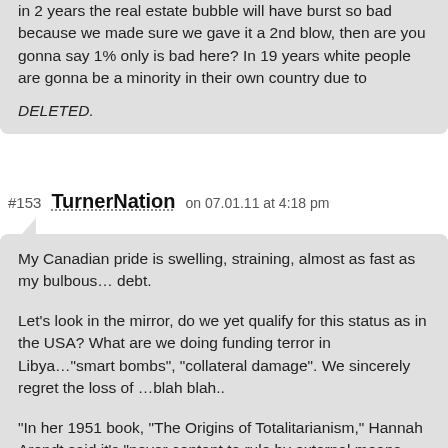in 2 years the real estate bubble will have burst so bad because we made sure we gave it a 2nd blow, then are you gonna say 1% only is bad here? In 19 years white people are gonna be a minority in their own country due to

DELETED.
#153 TurnerNation on 07.01.11 at 4:18 pm
My Canadian pride is swelling, straining, almost as fast as my bulbous… debt.

Let's look in the mirror, do we yet qualify for this status as in the USA? What are we doing funding terror in Libya…"smart bombs", "collateral damage". We sincerely regret the loss of …blah blah..

"In her 1951 book, "The Origins of Totalitarianism," Hannah Arendt said it's "never content to rule by external means, namely, through the state and a machinery of violence; thanks to its peculiar ideology and the role assigned to it in this apparatus of coercion, totalitarianism has discovered a means of dominating and terrorizing human beings from within."

She called it dictatorship based on: